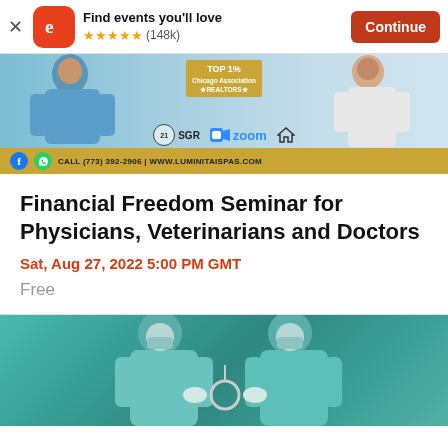Find events you'll love ★★★★★ (148k) Continue
[Figure (photo): Advertisement banner for a real estate seminar showing medical professionals in scrubs, with 21 SGR, Zoom logos, TOP 1% Chicago Association of Realtors badge, and contact info CALL (773) 392-2906 | WWW.LUMINITAISPAS.COM]
Financial Freedom Seminar for Physicians, Veterinarians and Doctors
Sat, Aug 27, 2022 5:00 PM GMT
Free
[Figure (photo): Two medical professionals in surgical gowns and masks in an operating room setting]